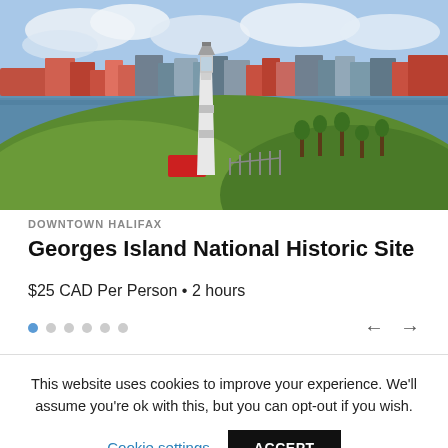[Figure (photo): Lighthouse on a green grassy island with a city skyline visible across the water in the background. Blue sky with clouds. A red sign is visible near the lighthouse base.]
DOWNTOWN HALIFAX
Georges Island National Historic Site
$25 CAD Per Person • 2 hours
This website uses cookies to improve your experience. We'll assume you're ok with this, but you can opt-out if you wish.
Cookie settings
ACCEPT